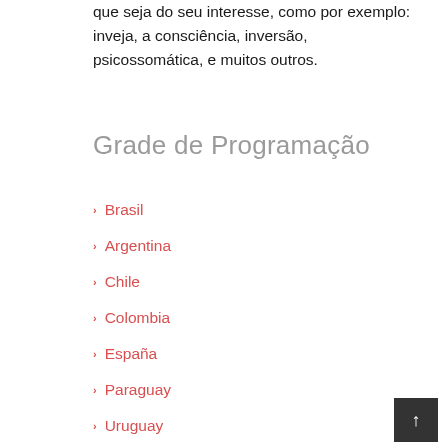que seja do seu interesse, como por exemplo: inveja, a consciência, inversão, psicossomática, e muitos outros.
Grade de Programação
Brasil
Argentina
Chile
Colombia
España
Paraguay
Uruguay
Venezuela